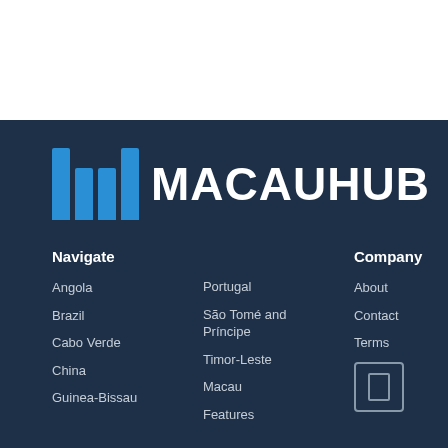[Figure (logo): MacauHub logo with blue vertical bar icon and white text MACAUHUB on dark navy background]
Navigate
Angola
Brazil
Cabo Verde
China
Guinea-Bissau
Portugal
São Tomé and Príncipe
Timor-Leste
Macau
Features
Company
About
Contact
Terms